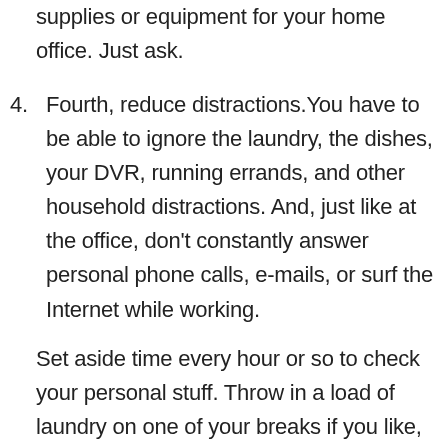supplies or equipment for your home office. Just ask.
4. Fourth, reduce distractions. You have to be able to ignore the laundry, the dishes, your DVR, running errands, and other household distractions. And, just like at the office, don't constantly answer personal phone calls, e-mails, or surf the Internet while working.
Set aside time every hour or so to check your personal stuff. Throw in a load of laundry on one of your breaks if you like, but don't go